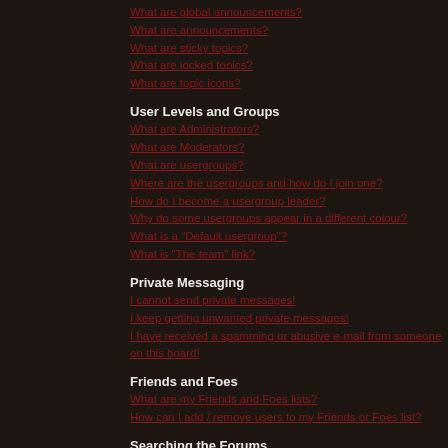What are global announcements?
What are announcements?
What are sticky topics?
What are locked topics?
What are topic icons?
User Levels and Groups
What are Administrators?
What are Moderators?
What are usergroups?
Where are the usergroups and how do I join one?
How do I become a usergroup leader?
Why do some usergroups appear in a different colour?
What is a "Default usergroup"?
What is "The team" link?
Private Messaging
I cannot send private messages!
I keep getting unwanted private messages!
I have received a spamming or abusive e-mail from someone on this board!
Friends and Foes
What are my Friends and Foes lists?
How can I add / remove users to my Friends or Foes list?
Searching the Forums
How can I search a forum or forums?
Why does my search return no results?
Why does my search return a blank page!?
How do I search for members?
How can I find my own posts and topics?
Topic Subscriptions and Bookmarks
What is the difference between bookmarking and subscribing?
How do I subscribe to specific forums or topics?